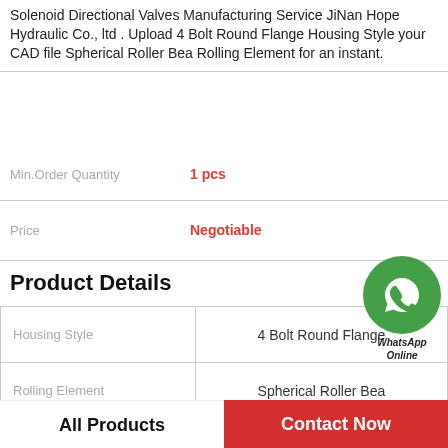Solenoid Directional Valves Manufacturing Service JiNan Hope Hydraulic Co., ltd . Upload 4 Bolt Round Flange Housing Style your CAD file Spherical Roller Bea Rolling Element for an instant.
Min.Order Quantity   1 pcs
Price   Negotiable
Product Details
|  |  |
| --- | --- |
| Housing Style | 4 Bolt Round Flange |
| Rolling Element | Spherical Roller Bea |
| Mounting Method | Eccentric Collar |
| Other Features | Double Row |
All Products
Contact Now